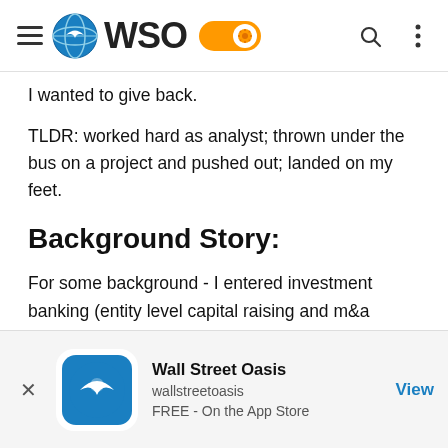WSO (Wall Street Oasis) navigation bar
I wanted to give back.
TLDR: worked hard as analyst; thrown under the bus on a project and pushed out; landed on my feet.
Background Story:
For some background - I entered investment banking (entity level capital raising and m&a advisory) coming from less than a year at a real estate broker and before that, coming from a non-target school. My team was small and although our brand is large in the a select space, it's not known for IB capabilities. When I joined, our team initially
Wall Street Oasis | wallstreetoasis | FREE - On the App Store | View